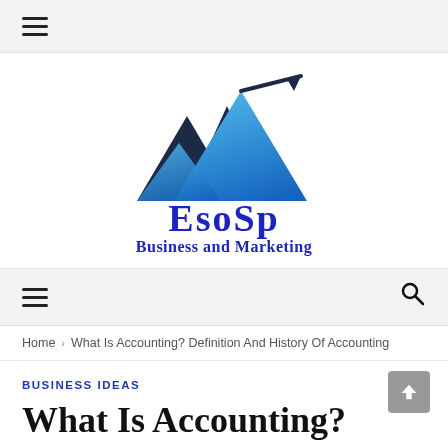≡
[Figure (logo): EsoSp Business and Marketing logo with mountain/chart peaks graphic in dark navy and blue gradient, with upward arrow. Text 'EsoSp' in bold blue serif and 'Business and Marketing' below in blue.]
≡  🔍
Home › What Is Accounting? Definition And History Of Accounting
BUSINESS IDEAS
What Is Accounting?